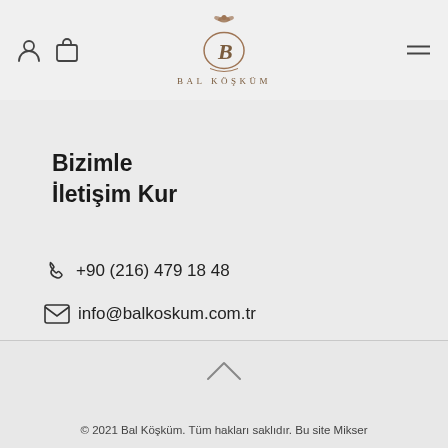Bal Köşküm — navigation header with logo
Bizimle
İletişim Kur
📞 +90 (216) 479 18 48
✉ info@balkoskum.com.tr
© 2021 Bal Köşküm. Tüm hakları saklıdır. Bu site Mikser